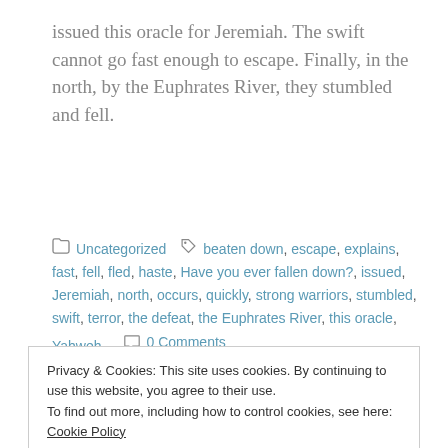issued this oracle for Jeremiah. The swift cannot go fast enough to escape. Finally, in the north, by the Euphrates River, they stumbled and fell.
Uncategorized   beaten down, escape, explains, fast, fell, fled, haste, Have you ever fallen down?, issued, Jeremiah, north, occurs, quickly, strong warriors, stumbled, swift, terror, the defeat, the Euphrates River, this oracle, Yahweh   0 Comments
Privacy & Cookies: This site uses cookies. By continuing to use this website, you agree to their use.
To find out more, including how to control cookies, see here: Cookie Policy
Close and accept